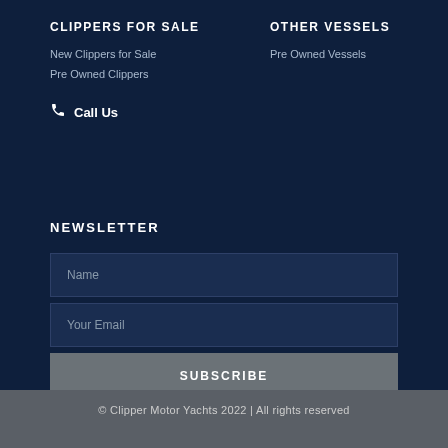CLIPPERS FOR SALE
New Clippers for Sale
Pre Owned Clippers
Call Us
OTHER VESSELS
Pre Owned Vessels
NEWSLETTER
Name
Your Email
SUBSCRIBE
© Clipper Motor Yachts 2022 | All rights reserved